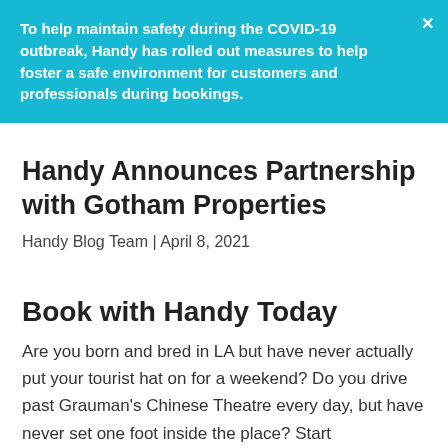To help maintain safety during the COVID-19 outbreak, Handy has rolled out measures to help foster a safe environment for customers and professionals during bookings.
Handy Announces Partnership with Gotham Properties
Handy Blog Team | April 8, 2021
Book with Handy Today
Are you born and bred in LA but have never actually put your tourist hat on for a weekend? Do you drive past Grauman's Chinese Theatre every day, but have never set one foot inside the place? Start rediscovering your city by freeing up all that time you'd otherwise spend cleaning